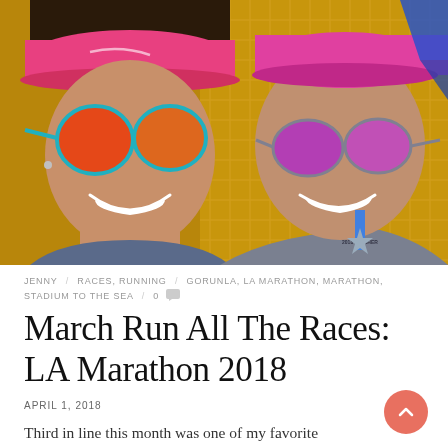[Figure (photo): Two people smiling for a selfie. On the left is a woman wearing a pink cap and round orange-mirrored sunglasses. On the right is a man wearing a pink cap and pink-mirrored sunglasses holding a blue 2018 Finisher marathon medal. Yellow fence/netting in background.]
JENNY / RACES, RUNNING / GORUNLA, LA MARATHON, MARATHON, STADIUM TO THE SEA / 0
March Run All The Races: LA Marathon 2018
APRIL 1, 2018
Third in line this month was one of my favorite